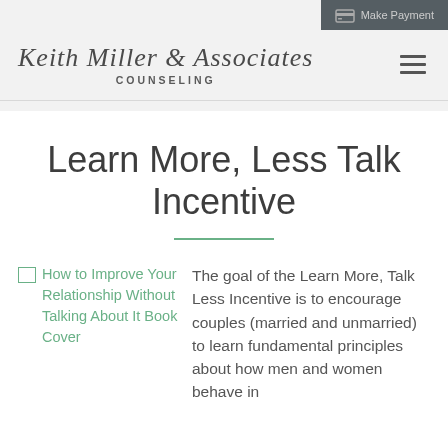Make Payment
Keith Miller & Associates Counseling
Learn More, Less Talk Incentive
[Figure (illustration): Broken image placeholder for book cover: 'How to Improve Your Relationship Without Talking About It Book Cover']
The goal of the Learn More, Talk Less Incentive is to encourage couples (married and unmarried) to learn fundamental principles about how men and women behave in